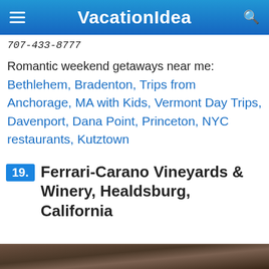VacationIdea
707-433-8777
Romantic weekend getaways near me:
Bethlehem, Bradenton, Trips from Anchorage, MA with Kids, Vermont Day Trips, Davenport, Dana Point, Princeton, NYC restaurants, Kutztown
19. Ferrari-Carano Vineyards & Winery, Healdsburg, California
[Figure (photo): Bottom strip showing a photo preview, dark toned outdoor/vineyard scene]